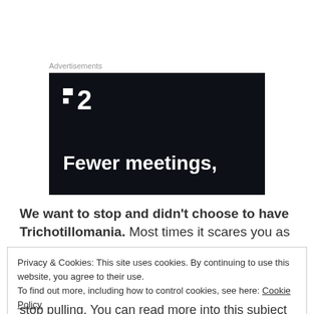Advertisements
[Figure (screenshot): Dark advertisement banner with white logo showing two dots and '2' and text 'Fewer meetings,']
We want to stop and didn't choose to have Trichotillomania. Most times it scares you as
Privacy & Cookies: This site uses cookies. By continuing to use this website, you agree to their use.
To find out more, including how to control cookies, see here: Cookie Policy
[Close and accept button]
stop pulling, You can read more into this subject on